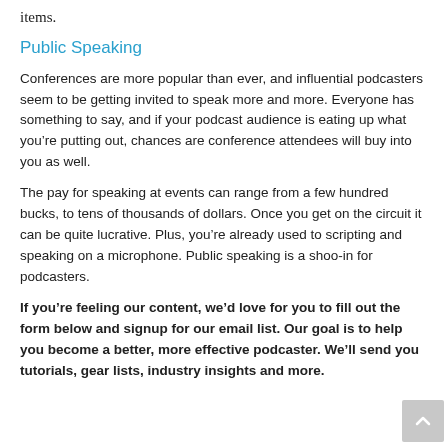items.
Public Speaking
Conferences are more popular than ever, and influential podcasters seem to be getting invited to speak more and more. Everyone has something to say, and if your podcast audience is eating up what you’re putting out, chances are conference attendees will buy into you as well.
The pay for speaking at events can range from a few hundred bucks, to tens of thousands of dollars. Once you get on the circuit it can be quite lucrative. Plus, you’re already used to scripting and speaking on a microphone. Public speaking is a shoo-in for podcasters.
If you’re feeling our content, we’d love for you to fill out the form below and signup for our email list. Our goal is to help you become a better, more effective podcaster. We’ll send you tutorials, gear lists, industry insights and more.